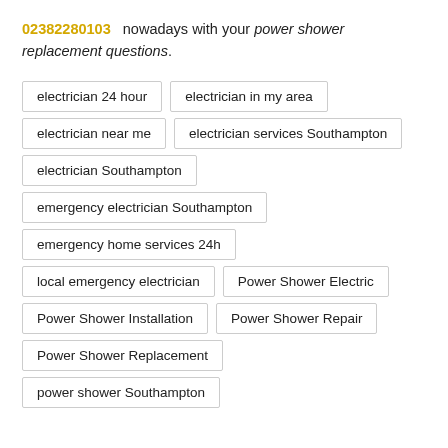02382280103 nowadays with your power shower replacement questions.
electrician 24 hour
electrician in my area
electrician near me
electrician services Southampton
electrician Southampton
emergency electrician Southampton
emergency home services 24h
local emergency electrician
Power Shower Electric
Power Shower Installation
Power Shower Repair
Power Shower Replacement
power shower Southampton